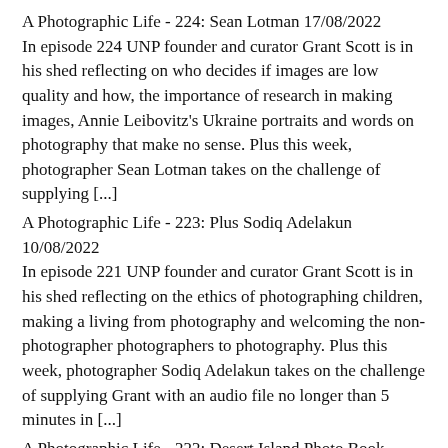A Photographic Life - 224: Sean Lotman 17/08/2022
In episode 224 UNP founder and curator Grant Scott is in his shed reflecting on who decides if images are low quality and how, the importance of research in making images, Annie Leibovitz's Ukraine portraits and words on photography that make no sense. Plus this week, photographer Sean Lotman takes on the challenge of supplying [...]
A Photographic Life - 223: Plus Sodiq Adelakun 10/08/2022
In episode 221 UNP founder and curator Grant Scott is in his shed reflecting on the ethics of photographing children, making a living from photography and welcoming the non-photographer photographers to photography. Plus this week, photographer Sodiq Adelakun takes on the challenge of supplying Grant with an audio file no longer than 5 minutes in [...]
A Photographic Life - 222: Desert Island Photo Book Special Part 2 03/08/2022
In episode 222 UNP founder and curator Grant Scott is in his shed...